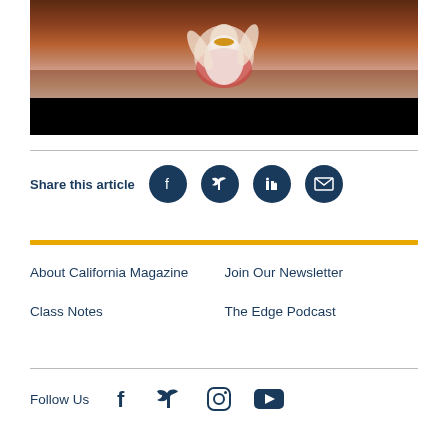[Figure (photo): Dancer in white and red costume performing on stage with dark background]
Share this article
About California Magazine
Join Our Newsletter
Class Notes
The Edge Podcast
Follow Us